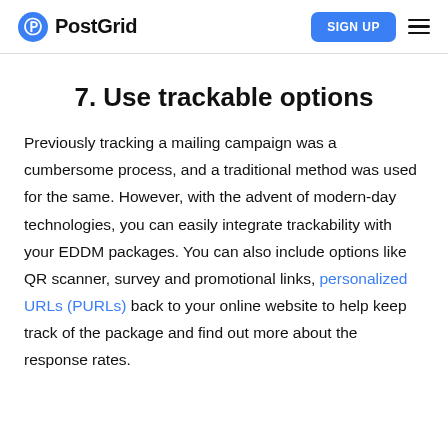PostGrid | SIGN UP
7. Use trackable options
Previously tracking a mailing campaign was a cumbersome process, and a traditional method was used for the same. However, with the advent of modern-day technologies, you can easily integrate trackability with your EDDM packages. You can also include options like QR scanner, survey and promotional links, personalized URLs (PURLs) back to your online website to help keep track of the package and find out more about the response rates.